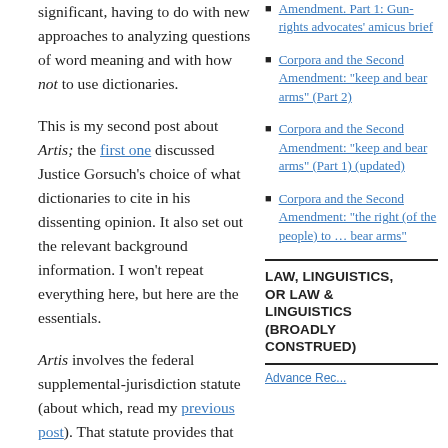significant, having to do with new approaches to analyzing questions of word meaning and with how not to use dictionaries.
This is my second post about Artis; the first one discussed Justice Gorsuch’s choice of what dictionaries to cite in his dissenting opinion. It also set out the relevant background information. I won’t repeat everything here, but here are the essentials.
Artis involves the federal supplemental-jurisdiction statute (about which, read my previous post). That statute provides that the limitations period for state-law claims as to which supplemental jurisdiction is invoked “shall be tolled while the claim is pending and for a period of 30 days after it is dismissed unless State law provides for a longer tolling
Amendment. Part 1: Gun-rights advocates’ amicus brief
Corpora and the Second Amendment: “keep and bear arms” (Part 2)
Corpora and the Second Amendment: “keep and bear arms” (Part 1) (updated)
Corpora and the Second Amendment: “the right (of the people) to … bear arms”
LAW, LINGUISTICS, OR LAW & LINGUISTICS (BROADLY CONSTRUED)
Advance Rec...